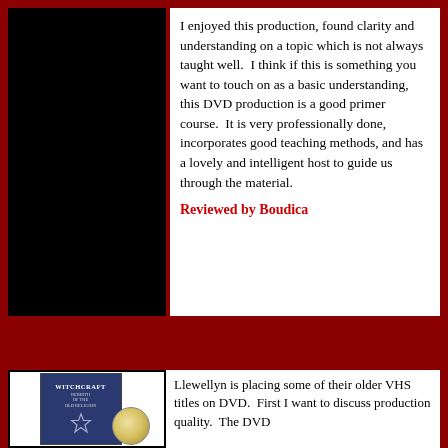I enjoyed this production, found clarity and understanding on a topic which is not always taught well.  I think if this is something you want to touch on as a basic understanding, this DVD production is a good primer course.  It is very professionally done, incorporates good teaching methods, and has a lovely and intelligent host to guide us through the material.
Reviewed by Boudica
[Figure (photo): Book cover for Witchcraft Rebirth of the Old Religion with a DVD disc partially overlapping]
Llewellyn is placing some of their older VHS titles on DVD.  First I want to discuss production quality.  The DVD